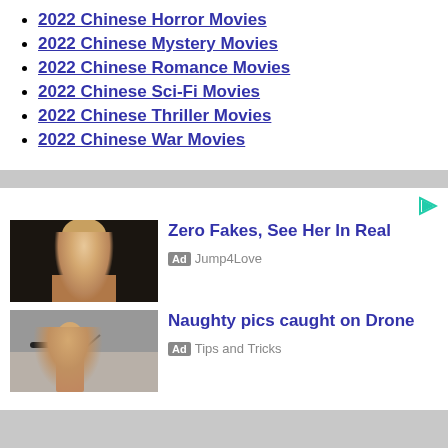2022 Chinese Horror Movies
2022 Chinese Mystery Movies
2022 Chinese Romance Movies
2022 Chinese Sci-Fi Movies
2022 Chinese Thriller Movies
2022 Chinese War Movies
[Figure (photo): Advertisement image: blonde woman portrait with dark background]
Zero Fakes, See Her In Real
Ad  Jump4Love
[Figure (photo): Advertisement image: woman with drone outdoors]
Naughty pics caught on Drone
Ad  Tips and Tricks